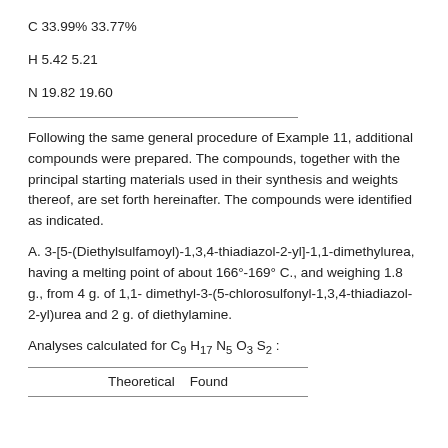C 33.99% 33.77%
H 5.42 5.21
N 19.82 19.60
Following the same general procedure of Example 11, additional compounds were prepared. The compounds, together with the principal starting materials used in their synthesis and weights thereof, are set forth hereinafter. The compounds were identified as indicated.
A. 3-[5-(Diethylsulfamoyl)-1,3,4-thiadiazol-2-yl]-1,1-dimethylurea, having a melting point of about 166°-169° C., and weighing 1.8 g., from 4 g. of 1,1-dimethyl-3-(5-chlorosulfonyl-1,3,4-thiadiazol-2-yl)urea and 2 g. of diethylamine.
Analyses calculated for C9 H17 N5 O3 S2 :
|  | Theoretical | Found |
| --- | --- | --- |